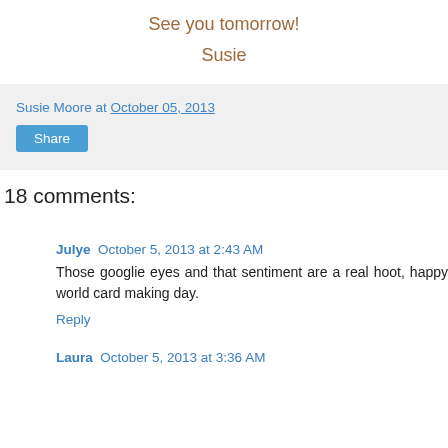See you tomorrow!
Susie
Susie Moore at October 05, 2013
Share
18 comments:
Julye  October 5, 2013 at 2:43 AM
Those googlie eyes and that sentiment are a real hoot, happy world card making day.
Reply
Laura  October 5, 2013 at 3:36 AM